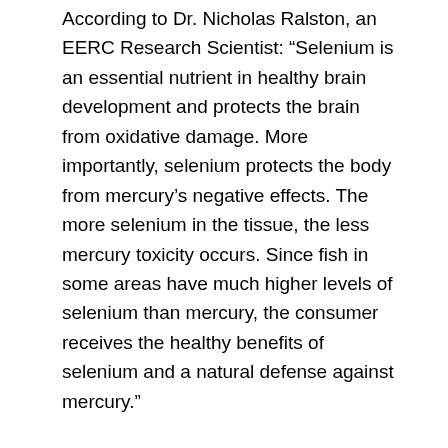According to Dr. Nicholas Ralston, an EERC Research Scientist: “Selenium is an essential nutrient in healthy brain development and protects the brain from oxidative damage. More importantly, selenium protects the body from mercury’s negative effects. The more selenium in the tissue, the less mercury toxicity occurs. Since fish in some areas have much higher levels of selenium than mercury, the consumer receives the healthy benefits of selenium and a natural defense against mercury.”
Dr. Ralston also works with The National Oceanic and Atmospheric Administration, and has observed that (southern) Flounder and (wild Pacific) Salmon (including Sockeye, Coho, and Chinook) have much higher selenium content than mercury. The study also revealed that that most types of shark, Pilot Whale,